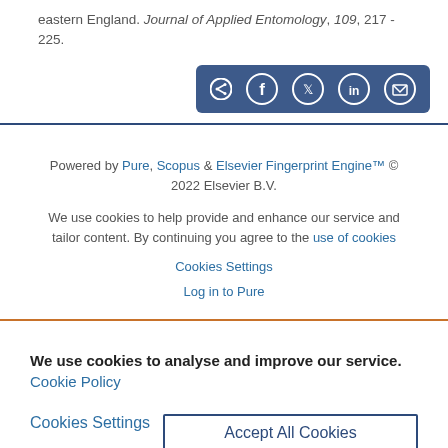eastern England. Journal of Applied Entomology, 109, 217 - 225.
[Figure (other): Social share bar with icons for share, Facebook, Twitter, LinkedIn, and email on a dark blue background]
Powered by Pure, Scopus & Elsevier Fingerprint Engine™ © 2022 Elsevier B.V.
We use cookies to help provide and enhance our service and tailor content. By continuing you agree to the use of cookies
Cookies Settings
Log in to Pure
We use cookies to analyse and improve our service. Cookie Policy
Cookies Settings
Accept All Cookies